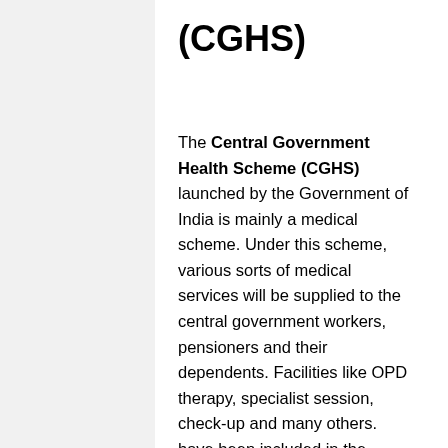(CGHS)
The Central Government Health Scheme (CGHS) launched by the Government of India is mainly a medical scheme. Under this scheme, various sorts of medical services will be supplied to the central government workers, pensioners and their dependents. Facilities like OPD therapy, specialist session, check-up and many others. have been included in the various medical Service supplied through this scheme. It is mandatory for the workers and pensioners to contribute a certain quantity to get the advantages